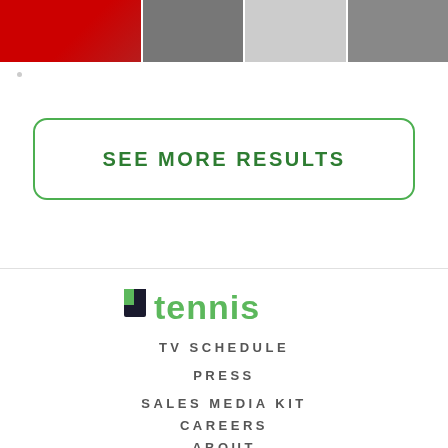[Figure (photo): A horizontal strip of magazine cover images with a red section and three magazine covers partially visible]
SEE MORE RESULTS
[Figure (logo): Tennis magazine logo with a dark racket icon and green 'tennis' wordmark]
TV SCHEDULE
PRESS
SALES MEDIA KIT
CAREERS
ABOUT